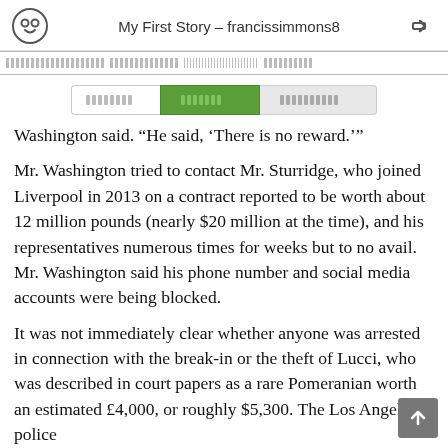My First Story – francissimmons8
Washington said. “He said, ‘There is no reward.’”
Mr. Washington tried to contact Mr. Sturridge, who joined Liverpool in 2013 on a contract reported to be worth about 12 million pounds (nearly $20 million at the time), and his representatives numerous times for weeks but to no avail. Mr. Washington said his phone number and social media accounts were being blocked.
It was not immediately clear whether anyone was arrested in connection with the break-in or the theft of Lucci, who was described in court papers as a rare Pomeranian worth an estimated £4,000, or roughly $5,300. The Los Angeles police